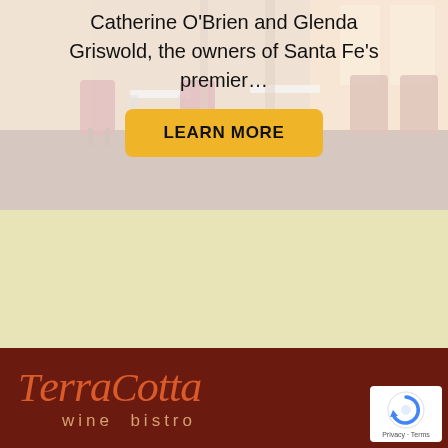[Figure (photo): Restaurant interior photo showing tables with red chairs and warm lighting, with a semi-transparent white overlay containing text and a button]
Catherine O'Brien and Glenda Griswold, the owners of Santa Fe's premier…
LEARN MORE
[Figure (logo): TerraCotta wine bistro logo in terracotta/orange italic script on dark red background]
[Figure (other): reCAPTCHA badge with Privacy and Terms links]